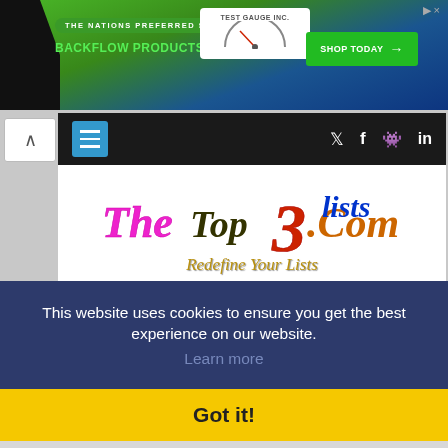[Figure (screenshot): Advertisement banner for backflow products and services with 'Test Gauge Inc.' logo and 'Shop Today' button]
[Figure (screenshot): TheTop3Lists.com website screenshot showing navigation bar with hamburger menu and social icons, colorful logo with 'Redefine Your Lists' tagline, and search bar]
This website uses cookies to ensure you get the best experience on our website.
Learn more
Got it!